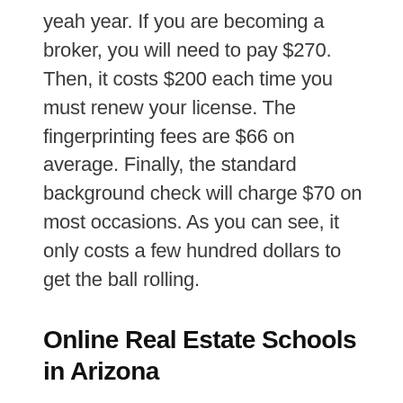yeah year. If you are becoming a broker, you will need to pay $270. Then, it costs $200 each time you must renew your license. The fingerprinting fees are $66 on average. Finally, the standard background check will charge $70 on most occasions. As you can see, it only costs a few hundred dollars to get the ball rolling.
Online Real Estate Schools in Arizona